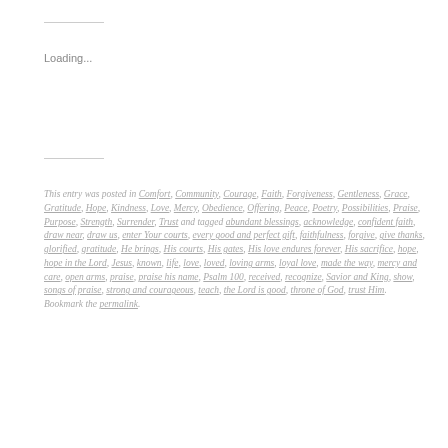Loading...
This entry was posted in Comfort, Community, Courage, Faith, Forgiveness, Gentleness, Grace, Gratitude, Hope, Kindness, Love, Mercy, Obedience, Offering, Peace, Poetry, Possibilities, Praise, Purpose, Strength, Surrender, Trust and tagged abundant blessings, acknowledge, confident faith, draw near, draw us, enter Your courts, every good and perfect gift, faithfulness, forgive, give thanks, glorified, gratitude, He brings, His courts, His gates, His love endures forever, His sacrifice, hope, hope in the Lord, Jesus, known, life, love, loved, loving arms, loyal love, made the way, mercy and care, open arms, praise, praise his name, Psalm 100, received, recognize, Savior and King, show, songs of praise, strong and courageous, teach, the Lord is good, throne of God, trust Him. Bookmark the permalink.